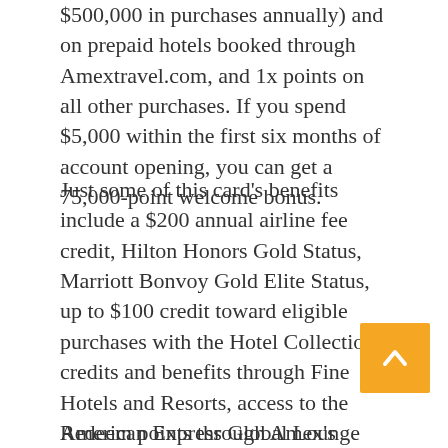$500,000 in purchases annually) and on prepaid hotels booked through Amextravel.com, and 1x points on all other purchases. If you spend $5,000 within the first six months of account opening, you can get a 75,000-point welcome bonus.
Just some of this card's benefits include a $200 annual airline fee credit, Hilton Honors Gold Status, Marriott Bonvoy Gold Elite Status, up to $100 credit toward eligible purchases with the Hotel Collection, credits and benefits through Fine Hotels and Resorts, access to the American Express Global Lounge Collection, up to $200 in annual Uber Cash, fee credit for Global Entry or TSA PreCheck, up to $100 in annual credits for Saks Fifth Avenue purchases, no foreign transaction fees, travel and purchase protections, and more.
Redeem points through Amex's Membership